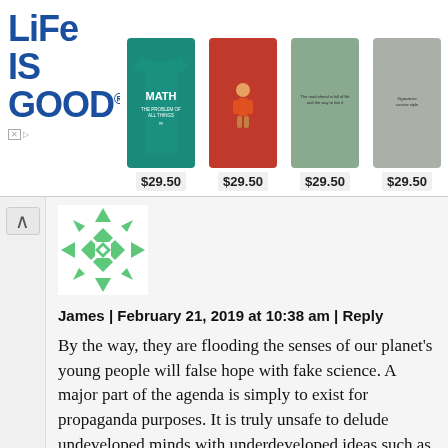[Figure (other): Life is Good advertisement banner showing logo and four t-shirts priced at $29.50 each]
[Figure (illustration): Green geometric snowflake/diamond pattern avatar icon]
James | February 21, 2019 at 10:38 am | Reply
By the way, they are flooding the senses of our planet’s young people will false hope with fake science. A major part of the agenda is simply to exist for propaganda purposes. It is truly unsafe to delude undeveloped minds with underdeveloped ideas such as THEORETICAL PHYSICS. As soon as someone defines a particle to my